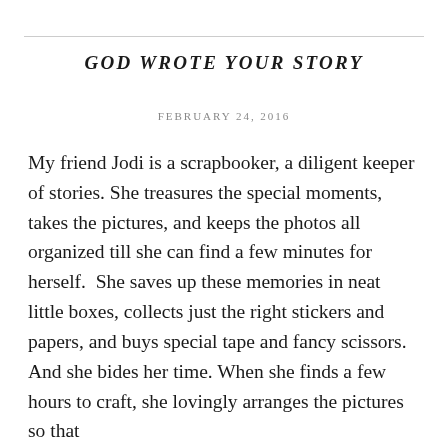GOD WROTE YOUR STORY
FEBRUARY 24, 2016
My friend Jodi is a scrapbooker, a diligent keeper of stories. She treasures the special moments, takes the pictures, and keeps the photos all organized till she can find a few minutes for herself.  She saves up these memories in neat little boxes, collects just the right stickers and papers, and buys special tape and fancy scissors. And she bides her time. When she finds a few hours to craft, she lovingly arranges the pictures so that